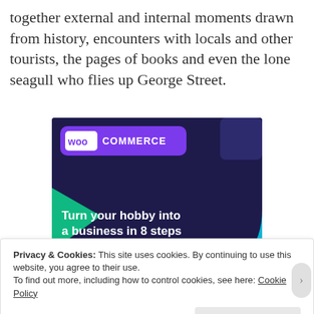together external and internal moments drawn from history, encounters with locals and other tourists, the pages of books and even the lone seagull who flies up George Street.
[Figure (advertisement): WooCommerce advertisement banner with dark navy background, purple speech bubble logo area showing 'woo COMMERCE', green triangle shape on the left, cyan arc shape on the right, bold white text reading 'Turn your hobby into a business in 8 steps', and a white 'Start a new store' button.]
Privacy & Cookies: This site uses cookies. By continuing to use this website, you agree to their use.
To find out more, including how to control cookies, see here: Cookie Policy
Close and accept